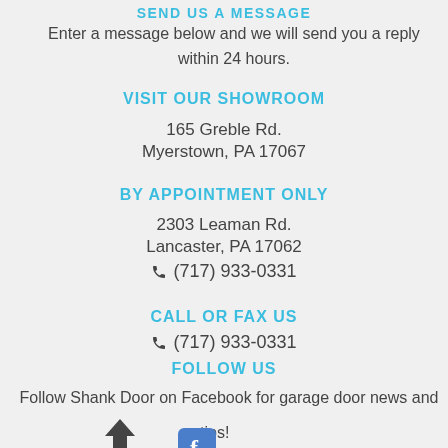SEND US A MESSAGE
Enter a message below and we will send you a reply within 24 hours.
VISIT OUR SHOWROOM
165 Greble Rd.
Myerstown, PA 17067
BY APPOINTMENT ONLY
2303 Leaman Rd.
Lancaster, PA 17062
☎ (717) 933-0331
CALL OR FAX US
☎ (717) 933-0331
FOLLOW US
Follow Shank Door on Facebook for garage door news and tips!